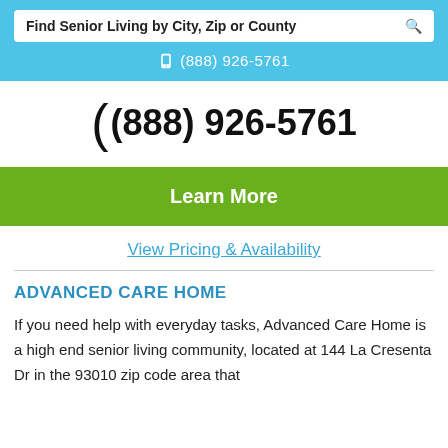Find Senior Living by City, Zip or County
(888) 926-5761
(888) 926-5761
Learn More
View Pricing & Availability
ADVANCED CARE HOME
If you need help with everyday tasks, Advanced Care Home is a high end senior living community, located at 144 La Cresenta Dr in the 93010 zip code area that